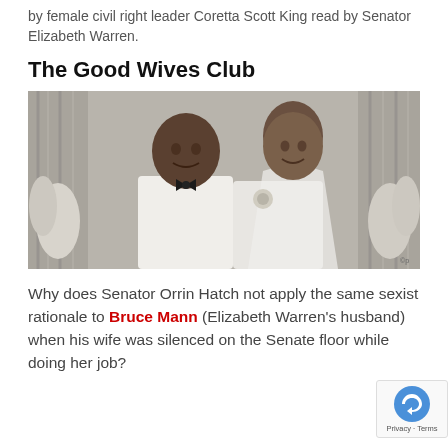by female civil right leader Coretta Scott King read by Senator Elizabeth Warren.
The Good Wives Club
[Figure (photo): Black and white wedding photo of Martin Luther King Jr. and Coretta Scott King, both smiling, groom in white suit with bow tie, bride in white lace dress with veil and corsage, floral arrangements in background.]
Why does Senator Orrin Hatch not apply the same sexist rationale to Bruce Mann (Elizabeth Warren's husband) when his wife was silenced on the Senate floor while doing her job?